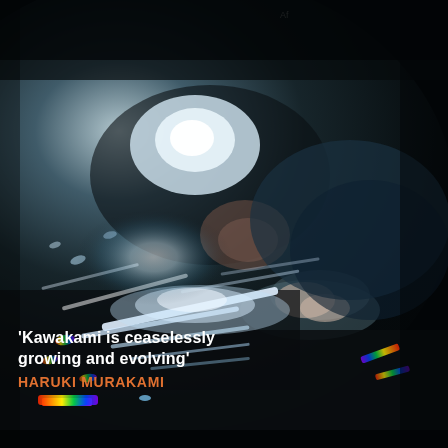[Figure (photo): Dark atmospheric photo of a person lying face-down, illuminated by scattered prismatic light reflections on a surface, creating rainbow and white light streaks. The figure appears to be reading or writing, with dramatic chiaroscuro lighting.]
'Kawakami is ceaselessly growing and evolving' HARUKI MURAKAMI